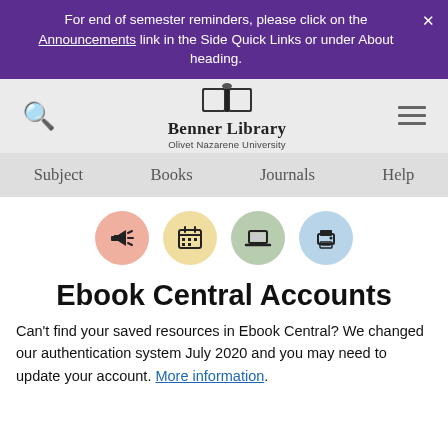For end of semester reminders, please click on the Announcements link in the Side Quick Links or under About heading.
[Figure (logo): Benner Library, Olivet Nazarene University logo with open book icon, search icon on left, hamburger menu on right]
Subject | Books | Journals | Help
[Figure (infographic): Four circular icons: megaphone (pink), calendar (yellow), laptop (green), printer (blue)]
Ebook Central Accounts
Can't find your saved resources in Ebook Central? We changed our authentication system July 2020 and you may need to update your account. More information.